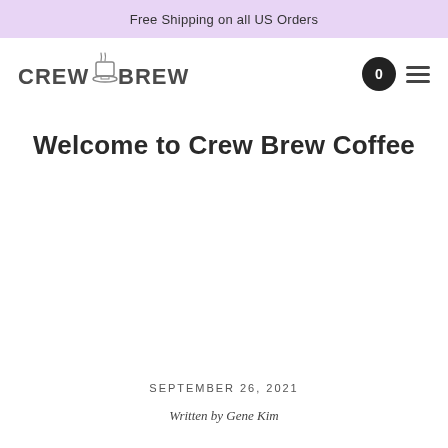Free Shipping on all US Orders
[Figure (logo): Crew Brew Coffee logo with stylized coffee cup and steam]
Welcome to Crew Brew Coffee
SEPTEMBER 26, 2021
Written by Gene Kim